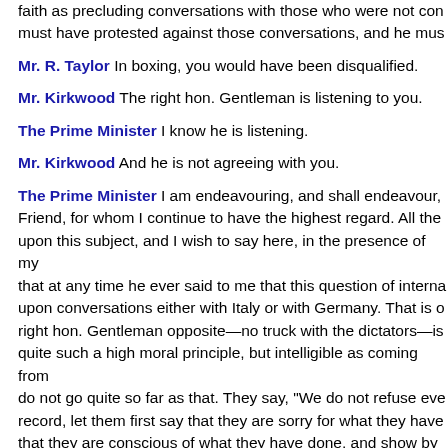faith as precluding conversations with those who were not con must have protested against those conversations, and he mus
Mr. R. Taylor In boxing, you would have been disqualified.
Mr. Kirkwood The right hon. Gentleman is listening to you.
The Prime Minister I know he is listening.
Mr. Kirkwood And he is not agreeing with you.
The Prime Minister I am endeavouring, and shall endeavour, Friend, for whom I continue to have the highest regard. All the upon this subject, and I wish to say here, in the presence of my that at any time he ever said to me that this question of interna upon conversations either with Italy or with Germany. That is o right hon. Gentleman opposite—no truck with the dictators—is quite such a high moral principle, but intelligible as coming from do not go quite so far as that. They say, "We do not refuse eve record, let them first say that they are sorry for what they have that they are conscious of what they have done, and show by s their heart."